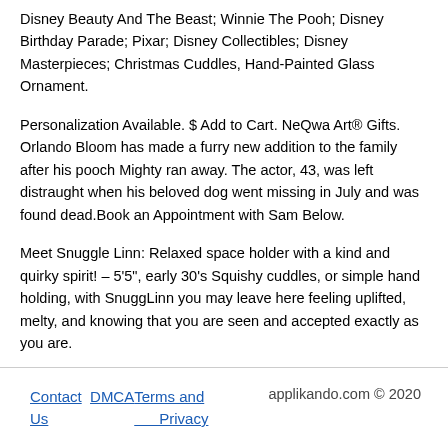Disney Beauty And The Beast; Winnie The Pooh; Disney Birthday Parade; Pixar; Disney Collectibles; Disney Masterpieces; Christmas Cuddles, Hand-Painted Glass Ornament.
Personalization Available. $ Add to Cart. NeQwa Art® Gifts. Orlando Bloom has made a furry new addition to the family after his pooch Mighty ran away. The actor, 43, was left distraught when his beloved dog went missing in July and was found dead.Book an Appointment with Sam Below.
Meet Snuggle Linn: Relaxed space holder with a kind and quirky spirit! – 5'5", early 30's Squishy cuddles, or simple hand holding, with SnuggLinn you may leave here feeling uplifted, melty, and knowing that you are seen and accepted exactly as you are.
Contact Us   DMCA   Terms and Privacy   applikando.com © 2020